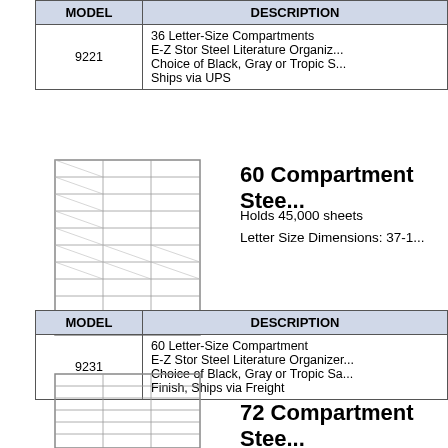| MODEL | DESCRIPTION |
| --- | --- |
| 9221 | 36 Letter-Size Compartments
E-Z Stor Steel Literature Organiz...
Choice of Black, Gray or Tropic S...
Ships via UPS |
[Figure (illustration): Line drawing of a 60-compartment steel literature organizer unit]
60 Compartment Stee...
Holds 45,000 sheets
Letter Size Dimensions: 37-1...
| MODEL | DESCRIPTION |
| --- | --- |
| 9231 | 60 Letter-Size Compartment
E-Z Stor Steel Literature Organizer...
Choice of Black, Gray or Tropic Sa...
Finish, Ships via Freight |
[Figure (illustration): Line drawing of a 72-compartment steel literature organizer unit]
72 Compartment Stee...